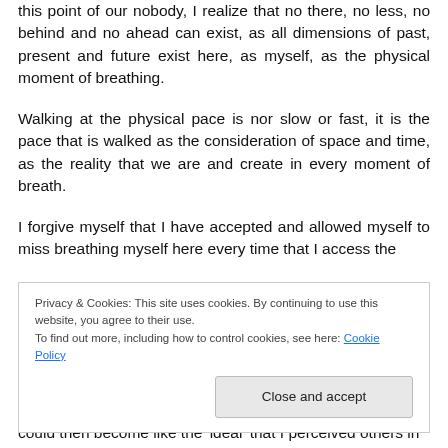this point of our nobody, I realize that no there, no less, no behind and no ahead can exist, as all dimensions of past, present and future exist here, as myself, as the physical moment of breathing.
Walking at the physical pace is nor slow or fast, it is the pace that is walked as the consideration of space and time, as the reality that we are and create in every moment of breath.
I forgive myself that I have accepted and allowed myself to miss breathing myself here every time that I access the
Privacy & Cookies: This site uses cookies. By continuing to use this website, you agree to their use.
To find out more, including how to control cookies, see here: Cookie Policy
could then become like the 'ideal' that I perceived others in